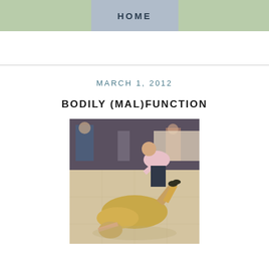HOME
MARCH 1, 2012
BODILY (MAL)FUNCTION
[Figure (photo): Photo of two people at what appears to be a party or event venue. One person in a gold/champagne satin dress is on the floor, and another person in a pink shirt is leaning over them. Other guests visible in the background.]